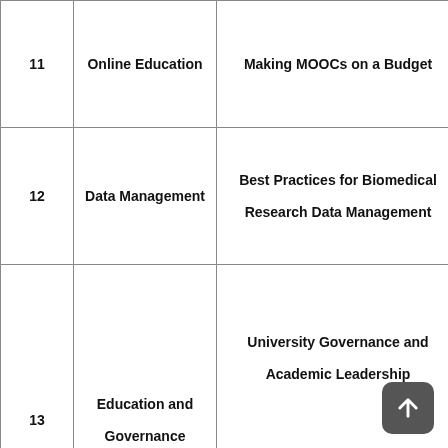| # | Category | Title | URL |
| --- | --- | --- | --- |
| 11 | Online Education | Making MOOCs on a Budget | https://w… |
| 12 | Data Management | Best Practices for Biomedical Research Data Management | https://w… |
| 13 | Education and Governance | University Governance and Academic Leadership | https://w… |
| 13 | Education and Governance | Contemporary Approaches to… | https://w… |